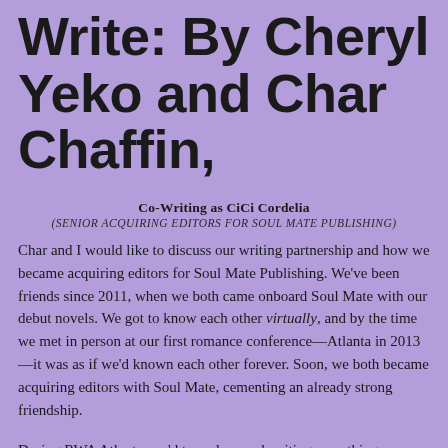Write: By Cheryl Yeko and Char Chaffin,
Co-Writing as CiCi Cordelia
(SENIOR ACQUIRING EDITORS FOR SOUL MATE PUBLISHING)
Char and I would like to discuss our writing partnership and how we became acquiring editors for Soul Mate Publishing. We've been friends since 2011, when we both came onboard Soul Mate with our debut novels. We got to know each other virtually, and by the time we met in person at our first romance conference—Atlanta in 2013—it was as if we'd known each other forever. Soon, we both became acquiring editors with Soul Mate, cementing an already strong friendship.
During RWA Atlanta, we'd tossed around writing something together, before we finalized the idea to write together as...